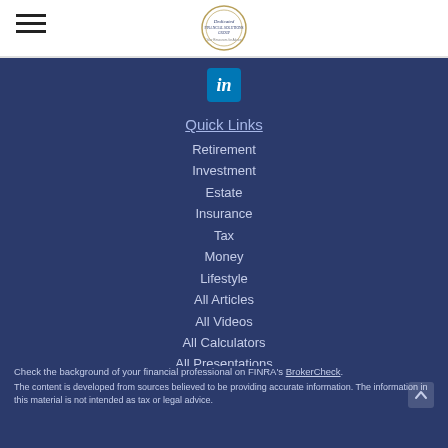[Figure (logo): Dedicated Financial Services Group logo — circular emblem with text]
[Figure (logo): LinkedIn icon — blue square with white italic 'in']
Quick Links
Retirement
Investment
Estate
Insurance
Tax
Money
Lifestyle
All Articles
All Videos
All Calculators
All Presentations
Check the background of your financial professional on FINRA's BrokerCheck.
The content is developed from sources believed to be providing accurate information. The information in this material is not intended as tax or legal advice. Please consult legal or tax professionals for specific information regarding your individual situation.